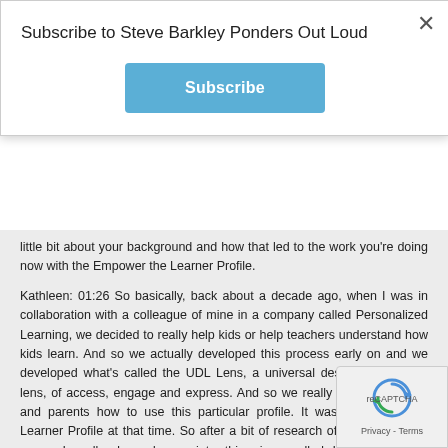Subscribe to Steve Barkley Ponders Out Loud
Subscribe
little bit about your background and how that led to the work you're doing now with the Empower the Learner Profile.
Kathleen: 01:26 So basically, back about a decade ago, when I was in collaboration with a colleague of mine in a company called Personalized Learning, we decided to really help kids or help teachers understand how kids learn. And so we actually developed this process early on and we developed what's called the UDL Lens, a universal design for learning lens, of access, engage and express. And so we really trained teachers and parents how to use this particular profile. It was called just the Learner Profile at that time. So after a bit of research of the last several years, I really dove deeper into this piece called Identity and the importance of kids developing an identity and the Empower the Learner Profile is exactly that, is to help kids really realize and understand and to share their identity and to be okay with that. So the Empower the Learner Profile includes th... aspects – who I am, how I learn that's using the UDL lens, a... what I aspire to be.
Kathleen: 02:41 So again, we want to really empower children